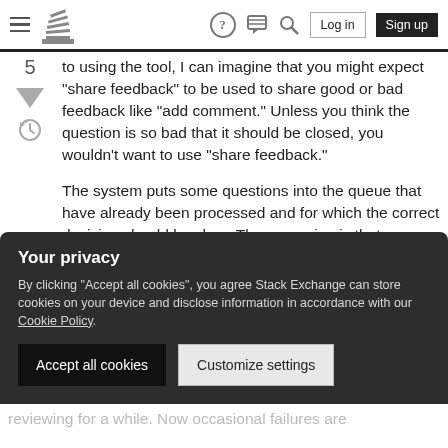Stack Exchange navigation bar with hamburger menu, logo, help, chat, search icons, Log in and Sign up buttons
to using the tool, I can imagine that you might expect "share feedback" to be used to share good or bad feedback like "add comment." Unless you think the question is so bad that it should be closed, you wouldn't want to use "share feedback."

The system puts some questions into the queue that have already been processed and for which the correct decision should be clear. The reasoning is that a question with 10s of up-votes won't need the feedback that it should be closed. If you try to close
Your privacy
By clicking "Accept all cookies", you agree Stack Exchange can store cookies on your device and disclose information in accordance with our Cookie Policy.
Accept all cookies  Customize settings
reviewing for a while. Now occasional failures are